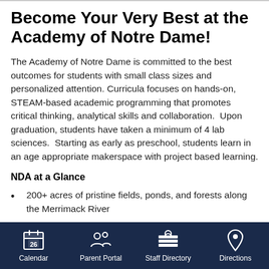Become Your Very Best at the Academy of Notre Dame!
The Academy of Notre Dame is committed to the best outcomes for students with small class sizes and personalized attention. Curricula focuses on hands-on, STEAM-based academic programming that promotes critical thinking, analytical skills and collaboration.  Upon graduation, students have taken a minimum of 4 lab sciences.  Starting as early as preschool, students learn in an age appropriate makerspace with project based learning.
NDA at a Glance
200+ acres of pristine fields, ponds, and forests along the Merrimack River
Calendar | Parent Portal | Staff Directory | Directions